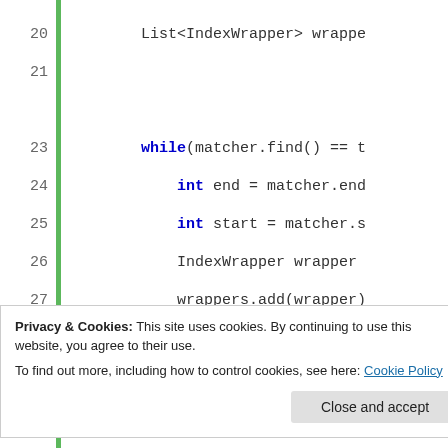[Figure (screenshot): Java source code snippet showing lines 20-37 of a WholeWordIndexFinder class with a green gutter bar on the left. Lines include List<IndexWrapper> declaration, a while loop with matcher.find(), int end and start declarations, IndexWrapper wrapper, wrappers.add(), closing braces, return wrappers, and a public static void main method with WholeWordIndexFinder, List<IndexWrapper>, and System.out.println calls.]
Privacy & Cookies: This site uses cookies. By continuing to use this website, you agree to their use.
To find out more, including how to control cookies, see here: Cookie Policy
Close and accept
[Figure (screenshot): Bottom strip of Java source code showing line 3: public class IndexWrapper {]